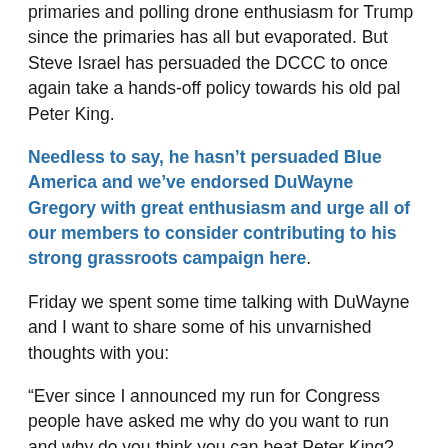primaries and polling drone enthusiasm for Trump since the primaries has all but evaporated. But Steve Israel has persuaded the DCCC to once again take a hands-off policy towards his old pal Peter King.
Needless to say, he hasn’t persuaded Blue America and we’ve endorsed DuWayne Gregory with great enthusiasm and urge all of our members to consider contributing to his strong grassroots campaign here.
Friday we spent some time talking with DuWayne and I want to share some of his unvarnished thoughts with you:
“Ever since I announced my run for Congress people have asked me why do you want to run and why do you think you can beat Peter King? The answer for me was simple for two reasons. First, I strongly believe we need new leadership in Washington. Secondly, the decision to run, specifically, against Peter King was a personal decision for me. I take the responsibility of holding public office seriously. It is an